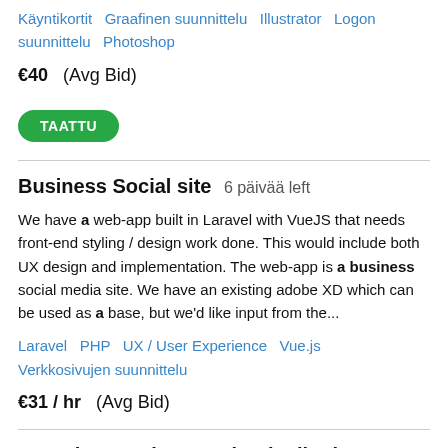Käyntikortit   Graafinen suunnittelu   Illustrator   Logon suunnittelu   Photoshop
€40  (Avg Bid)
TAATTU
Business Social site  6 päivää left
We have a web-app built in Laravel with VueJS that needs front-end styling / design work done. This would include both UX design and implementation. The web-app is a business social media site. We have an existing adobe XD which can be used as a base, but we'd like input from the...
Laravel   PHP   UX / User Experience   Vue.js   Verkkosivujen suunnittelu
€31 / hr  (Avg Bid)
Recruit YouTube, Facebook, tiktok, Instagram